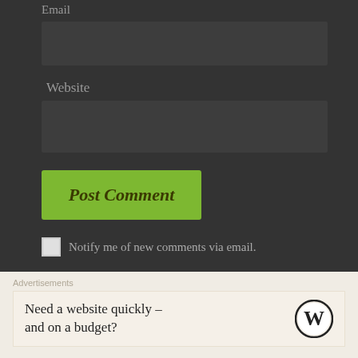Email
Website
Post Comment
Notify me of new comments via email.
Notify me of new posts via email.
Advertisements
Need a website quickly – and on a budget?